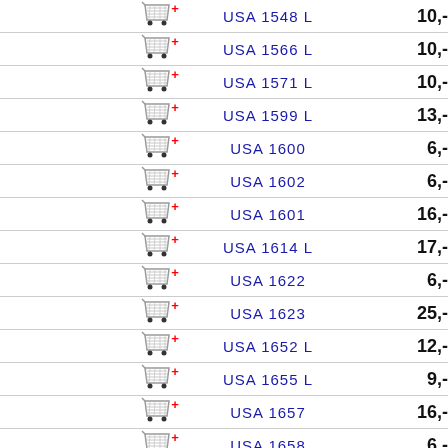| Cart | Product | Price |
| --- | --- | --- |
| [cart] | USA 1548 L | 10,- |
| [cart] | USA 1566 L | 10,- |
| [cart] | USA 1571 L | 10,- |
| [cart] | USA 1599 L | 13,- |
| [cart] | USA 1600 | 6,- |
| [cart] | USA 1602 | 6,- |
| [cart] | USA 1601 | 16,- |
| [cart] | USA 1614 L | 17,- |
| [cart] | USA 1622 | 6,- |
| [cart] | USA 1623 | 25,- |
| [cart] | USA 1652 L | 12,- |
| [cart] | USA 1655 L | 9,- |
| [cart] | USA 1657 | 16,- |
| [cart] | USA 1658 | 6,- |
| [cart] | USA 1659 | 9,- |
| [cart] | USA 1660 | 6,- |